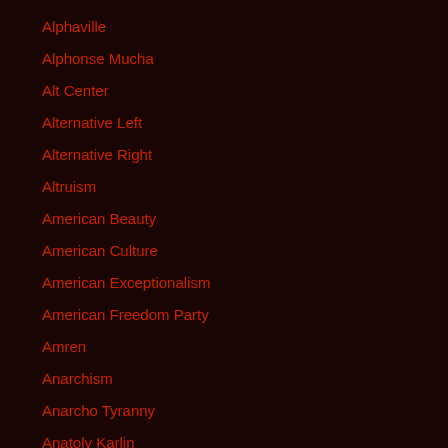Alphaville
Alphonse Mucha
Alt Center
Alternative Left
Alternative Right
Altruism
American Beauty
American Culture
American Exceptionalism
American Freedom Party
Amren
Anarchism
Anarcho Tyranny
Anatoly Karlin